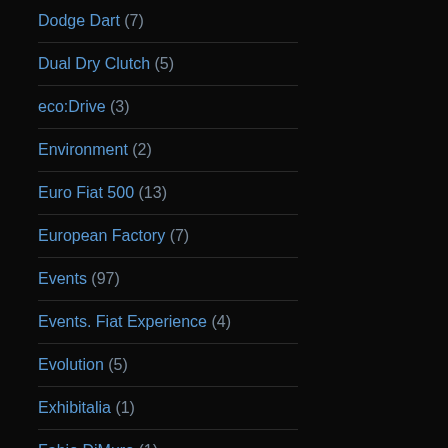Dodge Dart (7)
Dual Dry Clutch (5)
eco:Drive (3)
Environment (2)
Euro Fiat 500 (13)
European Factory (7)
Events (97)
Events. Fiat Experience (4)
Evolution (5)
Exhibitalia (1)
Fabio DiMuro (1)
FAQ (1)
Fashion Week (1)
FCA (7)